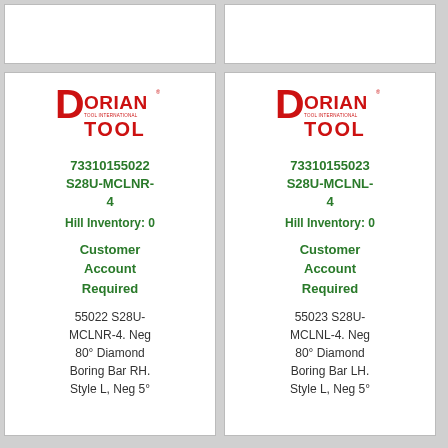[Figure (logo): Dorian Tool logo, red stylized text]
73310155022
S28U-MCLNR-4
Hill Inventory: 0
Customer Account Required
55022 S28U-MCLNR-4. Neg 80° Diamond Boring Bar RH. Style L, Neg 5°
[Figure (logo): Dorian Tool logo, red stylized text]
73310155023
S28U-MCLNL-4
Hill Inventory: 0
Customer Account Required
55023 S28U-MCLNL-4. Neg 80° Diamond Boring Bar LH. Style L, Neg 5°